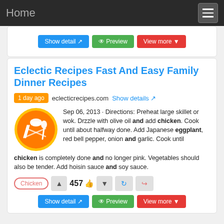Home
[Figure (screenshot): Show detail, Preview, and View more buttons top bar]
Eclectic Recipes Fast And Easy Family Dinner Recipes
1 day ago  eclecticrecipes.com  Show details
[Figure (logo): Orange circle with chef hat, spoon and fork icon]
Sep 06, 2013 · Directions: Preheat large skillet or wok. Drzzle with olive oil and add chicken. Cook until about halfway done. Add Japanese eggplant, red bell pepper, onion and garlic. Cook until chicken is completely done and no longer pink. Vegetables should also be tender. Add hoisin sauce and soy sauce.
Chicken  457  ↑ ↓ refresh share buttons
[Figure (screenshot): Show detail, Preview, and View more buttons bottom bar]